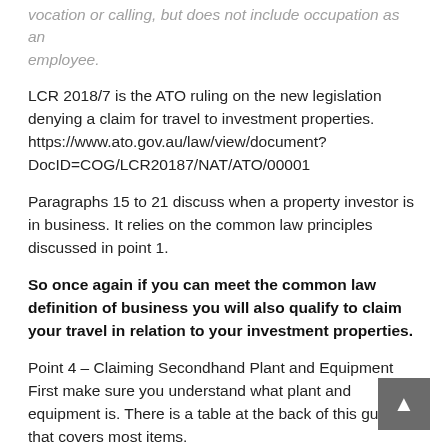vocation or calling, but does not include occupation as an employee.
LCR 2018/7 is the ATO ruling on the new legislation denying a claim for travel to investment properties. https://www.ato.gov.au/law/view/document?DocID=COG/LCR20187/NAT/ATO/00001
Paragraphs 15 to 21 discuss when a property investor is in business. It relies on the common law principles discussed in point 1.
So once again if you can meet the common law definition of business you will also qualify to claim your travel in relation to your investment properties.
Point 4 – Claiming Secondhand Plant and Equipment First make sure you understand what plant and equipment is. There is a table at the back of this guide that covers most items. https://www.ato.gov.au/uploadedFiles/Content/IND/D